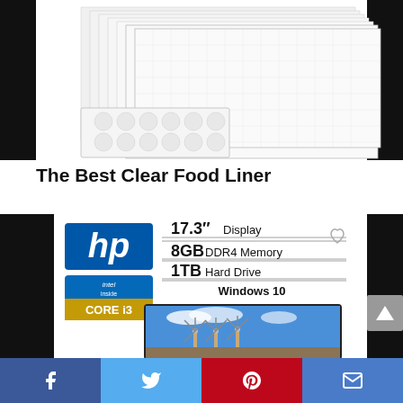[Figure (photo): Stack of clear food liner sheets with small circular dot patches in front, product image on white background]
The Best Clear Food Liner
[Figure (infographic): HP laptop advertisement showing HP and Intel Core i3 logos with specs: 17.3 inch Display, 8GB DDR4 Memory, 1TB Hard Drive, Windows 10, and a laptop screen showing windmills]
Facebook, Twitter, Pinterest, Email social share bar